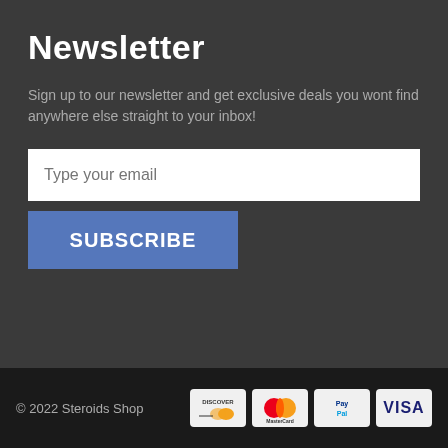Newsletter
Sign up to our newsletter and get exclusive deals you wont find anywhere else straight to your inbox!
[Figure (other): Email input field with placeholder 'Type your email' and a blue SUBSCRIBE button below]
© 2022 Steroids Shop